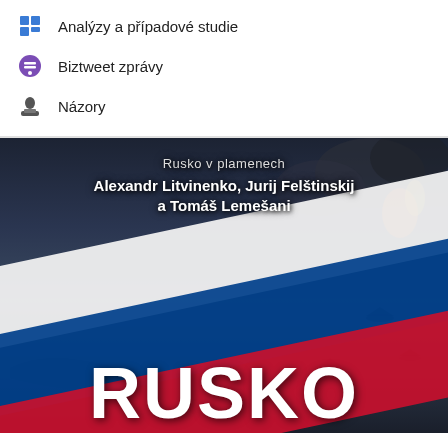Analýzy a případové studie
Biztweet zprávy
Názory
[Figure (illustration): Book cover for 'Rusko v plamenech' by Alexandr Litvinenko, Jurij Felštinskij a Tomáš Lemešani, showing a Russian flag billowing in a dark smoky sky with military aircraft silhouettes, and the large white word RUSKO at the bottom.]